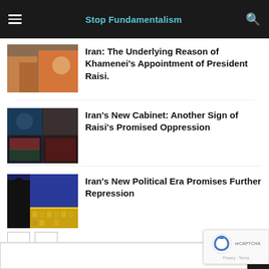Stop Fundamentalism
Iran: The Underlying Reason of Khamenei’s Appointment of President Raisi.
Iran’s New Cabinet: Another Sign of Raisi’s Promised Oppression
Iran’s New Political Era Promises Further Repression